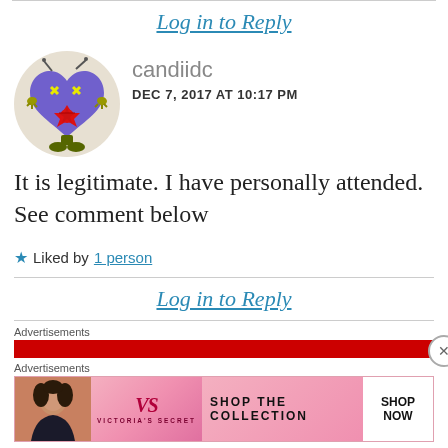Log in to Reply
[Figure (illustration): Avatar: cartoon purple heart-shaped creature with antennae, X eyes, red star-shaped mouth, and yellow hands, in a circular frame]
candiidc
DEC 7, 2017 AT 10:17 PM
It is legitimate. I have personally attended. See comment below
★ Liked by 1 person
Log in to Reply
Advertisements
Advertisements
[Figure (photo): Victoria's Secret advertisement banner with woman photo, VS logo, SHOP THE COLLECTION text, and SHOP NOW button]